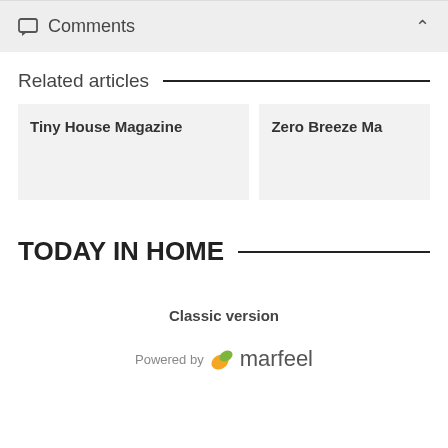Comments
Related articles
Tiny House Magazine
Zero Breeze Ma
TODAY IN HOME
Classic version
Powered by marfeel